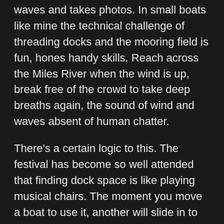waves and takes photos. In small boats like mine the technical challenge of threading docks and the mooring field is fun, hones handy skills. Reach across the Miles River when the wind is up, break free of the crowd to take deep breaths again, the sound of wind and waves absent of human chatter.
There's a certain logic to this. The festival has become so well attended that finding dock space is like playing musical chairs. The moment you move a boat to use it, another will slide in to take your place. Someone is always circling nearby, looking for a slip. Once you slip the lines and pull out, may as well stay out.
Around noon the fleet will embark and swarm out to you in earnest. Boats everywhere. You will have missed the instructions for the race course, but it doesn't matter. You don't care, primarily, and secondly the course will likely change, as it does today. There is so little wind today at